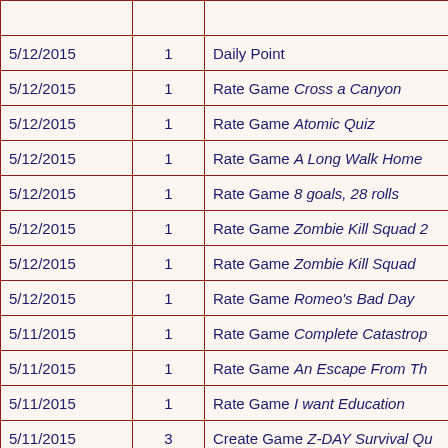| Date | Points | Description |
| --- | --- | --- |
| 5/12/2015 | 1 | Daily Point |
| 5/12/2015 | 1 | Rate Game Cross a Canyon |
| 5/12/2015 | 1 | Rate Game Atomic Quiz |
| 5/12/2015 | 1 | Rate Game A Long Walk Home |
| 5/12/2015 | 1 | Rate Game 8 goals, 28 rolls |
| 5/12/2015 | 1 | Rate Game Zombie Kill Squad 2 |
| 5/12/2015 | 1 | Rate Game Zombie Kill Squad |
| 5/12/2015 | 1 | Rate Game Romeo's Bad Day |
| 5/11/2015 | 1 | Rate Game Complete Catastrophe |
| 5/11/2015 | 1 | Rate Game An Escape From Th... |
| 5/11/2015 | 1 | Rate Game I want Education |
| 5/11/2015 | 3 | Create Game Z-DAY Survival Qu... |
| 5/11/2015 | -1 | Duel Escrow Rock Paper Scisso... |
| 5/11/2015 | -1 | Duel Escrow Rock Paper Scisso... |
| 5/11/2015 | 1 | Rate Game School Simulation |
| 5/11/2015 | 1 | Rate Game Vocab #1 |
| 5/11/2015 | 1 | Rate Game Dangerous Decision... |
| 5/11/2015 | 1 | Rate Game Z Day |